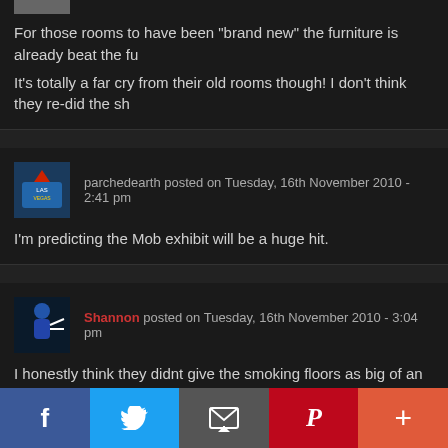[Figure (photo): Partial avatar photo cropped at top of page]
For those rooms to have been "brand new" the furniture is already beat the fu...
It's totally a far cry from their old rooms though! I don't think they re-did the sh...
[Figure (photo): Las Vegas sign avatar for user parchedearth]
parchedearth posted on Tuesday, 16th November 2010 - 2:41 pm
I'm predicting the Mob exhibit will be a huge hit.
[Figure (photo): Guitar player avatar for user Shannon]
Shannon posted on Tuesday, 16th November 2010 - 3:04 pm
I honestly think they didnt give the smoking floors as big of an overhaul as the... figured cigarette burns and smoke would dirty up the rooms really fast anyway... the 8th) a few weeks ago was a far cry from the beat up furniture in these pho... bathroom tile was much more contemporary than the tile in this report too. In f...
Social share bar: Facebook, Twitter, Email, Pinterest, More